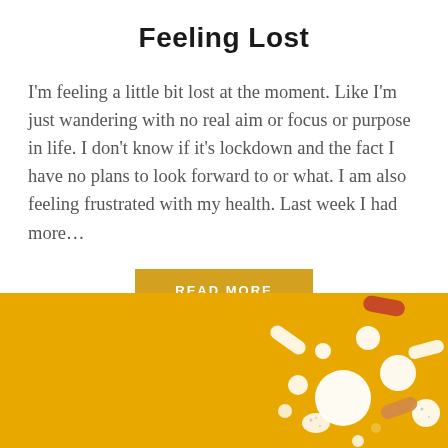Feeling Lost
I'm feeling a little bit lost at the moment. Like I'm just wandering with no real aim or focus or purpose in life. I don't know if it's lockdown and the fact I have no plans to look forward to or what. I am also feeling frustrated with my health. Last week I had more…
READ MORE
[Figure (photo): Yellow background with assorted white pills, capsules, and tablets scattered on the right side of the image]